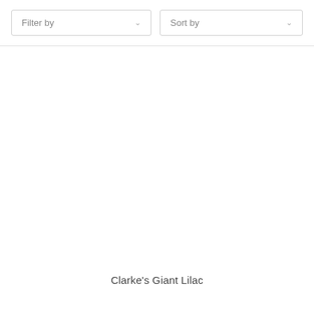Filter by
Sort by
Clarke's Giant Lilac